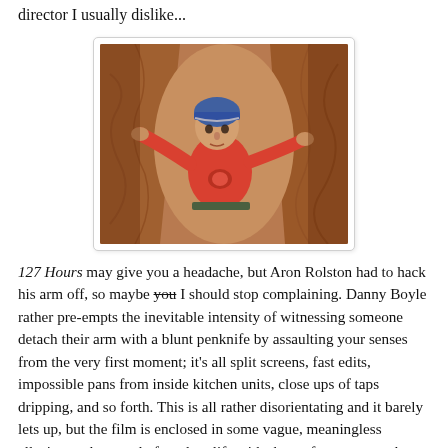director I usually dislike...
[Figure (photo): A man in a red t-shirt and blue helmet climbing through a narrow canyon rock slot, looking upward toward the camera.]
127 Hours may give you a headache, but Aron Rolston had to hack his arm off, so maybe you I should stop complaining. Danny Boyle rather pre-empts the inevitable intensity of witnessing someone detach their arm with a blunt penknife by assaulting your senses from the very first moment; it's all split screens, fast edits, impossible pans from inside kitchen units, close ups of taps dripping, and so forth. This is all rather disorientating and it barely lets up, but the film is enclosed in some vague, meaningless allusion to the speed of modern life with shots of commuters that resemble Koyaanisqatsi, and so the headrush of Boyle's direction is a very straightforward interpretation of living in Rolston's world.